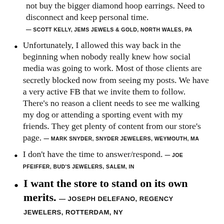not buy the bigger diamond hoop earrings. Need to disconnect and keep personal time. — SCOTT KELLY, JEMS JEWELS & GOLD, NORTH WALES, PA
Unfortunately, I allowed this way back in the beginning when nobody really knew how social media was going to work. Most of those clients are secretly blocked now from seeing my posts. We have a very active FB that we invite them to follow. There's no reason a client needs to see me walking my dog or attending a sporting event with my friends. They get plenty of content from our store's page. — MARK SNYDER, SNYDER JEWELERS, WEYMOUTH, MA
I don't have the time to answer/respond. — JOE PFEIFFER, BUD'S JEWELERS, SALEM, IN
I want the store to stand on its own merits. — JOSEPH DELEFANO, REGENCY JEWELERS, ROTTERDAM, NY
Facebook is only for real friends. — STEVEN